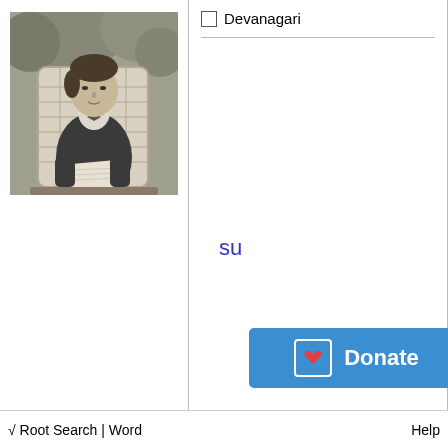[Figure (photo): Black and white photograph of a man in formal Victorian attire seated in a wicker chair outdoors, holding papers]
Devanagari
su
Donate
√ Root Search | Word    Help